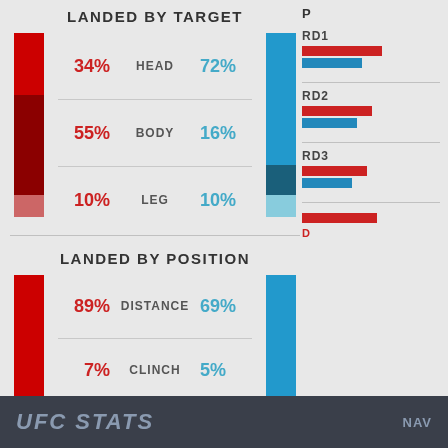LANDED BY TARGET
[Figure (bar-chart): LANDED BY TARGET]
LANDED BY POSITION
[Figure (bar-chart): LANDED BY POSITION]
RD1
RD2
RD3
UFC STATS   NAV